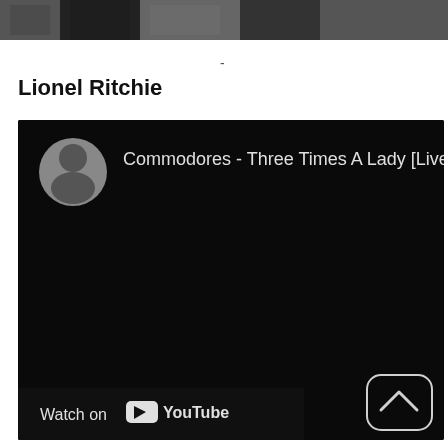[Figure (photo): Black and white photo strip at the top of the page, partially cropped]
-
Lionel Ritchie
[Figure (screenshot): YouTube video embed showing 'Commodores - Three Times A Lady [Live]' with a circular avatar thumbnail of a young person, black video area, and 'Watch on YouTube' button at bottom left, plus a scroll-up arrow button at bottom right]